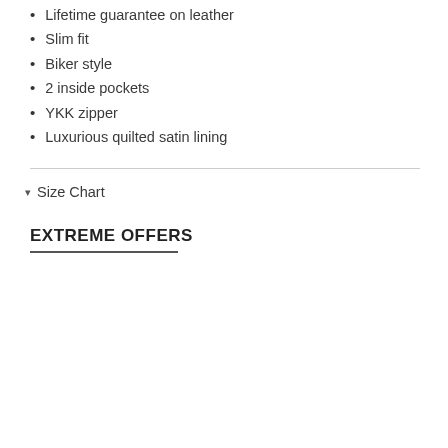Lifetime guarantee on leather
Slim fit
Biker style
2 inside pockets
YKK zipper
Luxurious quilted satin lining
Size Chart
EXTREME OFFERS